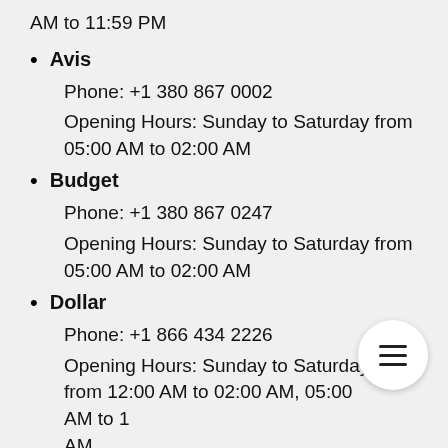AM to 11:59 PM
Avis
Phone: +1 380 867 0002
Opening Hours: Sunday to Saturday from 05:00 AM to 02:00 AM
Budget
Phone: +1 380 867 0247
Opening Hours: Sunday to Saturday from 05:00 AM to 02:00 AM
Dollar
Phone: +1 866 434 2226
Opening Hours: Sunday to Saturday from 12:00 AM to 02:00 AM, 05:00 AM to 1 AM
Enterprise
Phone: +1 614 239 3200
Opening Hours: Monday to Friday from